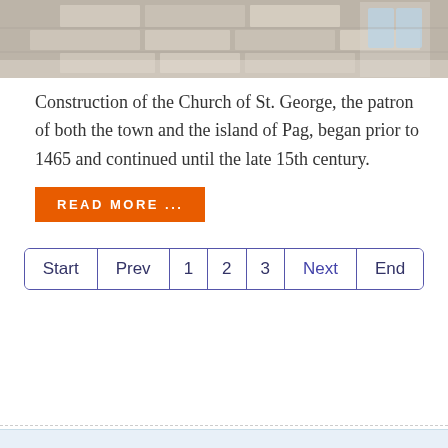[Figure (photo): Top portion of a stone church building facade, cropped at top]
Construction of the Church of St. George, the patron of both the town and the island of Pag, began prior to 1465 and continued until the late 15th century.
READ MORE ...
Start  Prev  1  2  3  Next  End
[Figure (logo): Instagram, Facebook, and YouTube social media icons]